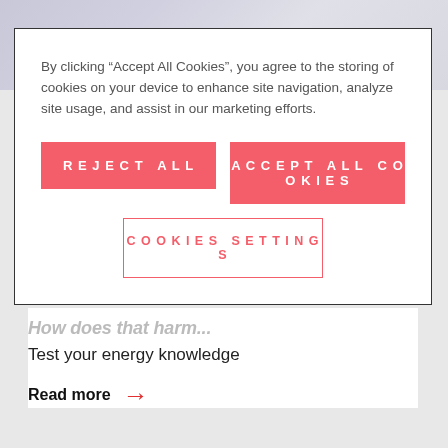By clicking “Accept All Cookies”, you agree to the storing of cookies on your device to enhance site navigation, analyze site usage, and assist in our marketing efforts.
Reject All
Accept All Cookies
Cookies Settings
Test your energy knowledge
Read more →